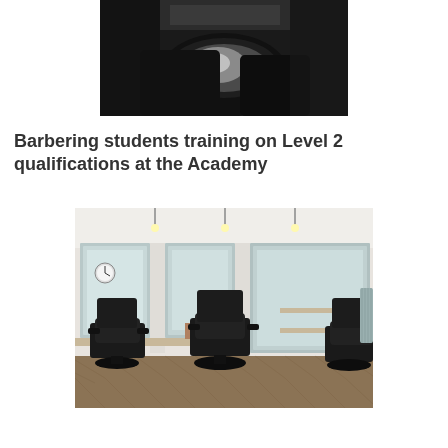[Figure (photo): Close-up view of a barber chair and metallic bowl/sink equipment in a barbering academy, dark tones]
Barbering students training on Level 2 qualifications at the Academy
[Figure (photo): Interior of a barbering academy showing multiple black barber chairs in front of large mirrors, herringbone wood floor, track lighting, and salon equipment on shelves]